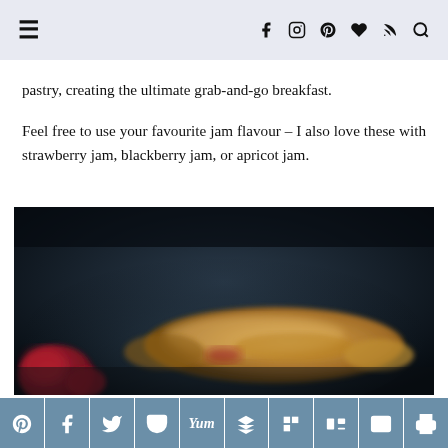≡   f  Instagram  Pinterest  ♥  RSS  Search
pastry, creating the ultimate grab-and-go breakfast.
Feel free to use your favourite jam flavour – I also love these with strawberry jam, blackberry jam, or apricot jam.
[Figure (photo): Close-up photo of a golden-brown pastry (jam-filled) on a dark background with red raspberries visible, slightly blurred/bokeh style food photography.]
Social share buttons: Pinterest, Facebook, Twitter, Pocket, Yummly, Buffer, Flipboard, Mix, Email, Print